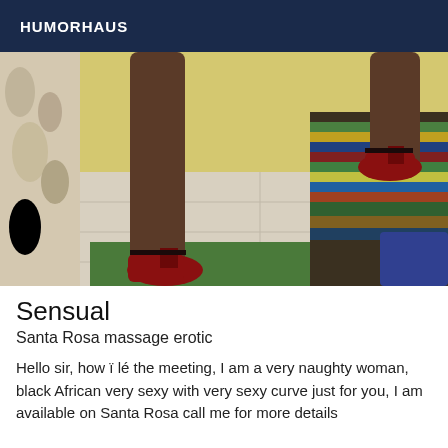HUMORHAUS
[Figure (photo): Photo showing lower legs and feet of a person wearing red shoes/heels, standing on a tiled floor with a green mat, next to a bed with a colorful striped blanket. A curtain is visible in the background.]
Sensual
Santa Rosa massage erotic
Hello sir, how ï lé the meeting, I am a very naughty woman, black African very sexy with very sexy curve just for you, I am available on Santa Rosa call me for more details